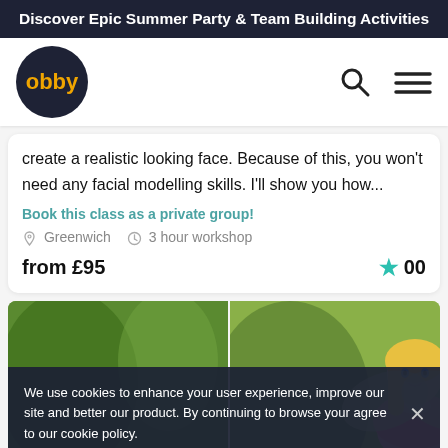Discover Epic Summer Party & Team Building Activities
[Figure (logo): Obby logo — dark navy circle with orange 'obby' text, plus search and hamburger menu icons]
create a realistic looking face. Because of this, you won't need any facial modelling skills. I'll show you how...
Book this class as a private group!
Greenwich   3 hour workshop
from £95   ★ 00
[Figure (photo): Three images side by side: blurred green background on left, a fairy doll with blonde hair and wings in center, and blurred photo of a child with dark bob hair on the right]
We use cookies to enhance your user experience, improve our site and better our product. By continuing to browse your agree to our cookie policy.